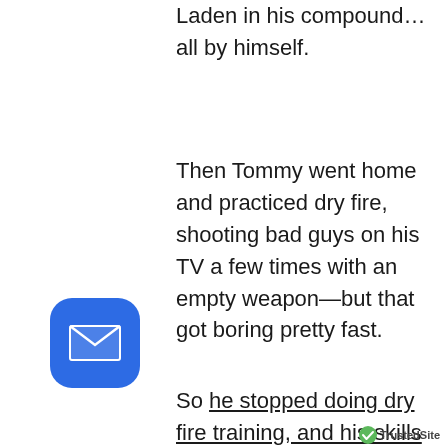Laden in his compound… all by himself.
Then Tommy went home and practiced dry fire, shooting bad guys on his TV a few times with an empty weapon—but that got boring pretty fast.
So he stopped doing dry fire training, and his skills from his $1,000 class petered out over the next few weeks.
And by the time he shot with his friends again, his skills were
[Figure (other): Blue rounded square mail/email button icon]
[Figure (logo): TrustedSite logo with green checkmark]